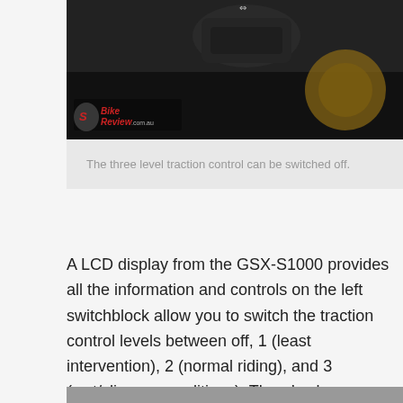[Figure (photo): Motorcycle switchblock/controls close-up photo with bike review watermark logo on dark background]
The three level traction control can be switched off.
A LCD display from the GSX-S1000 provides all the information and controls on the left switchblock allow you to switch the traction control levels between off, 1 (least intervention), 2 (normal riding), and 3 (wet/slippery conditions). There's also a gear indicator, fuel gauge, trip meters, estimated remaining range, and fuel economy calculator.